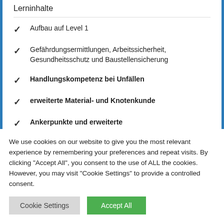Lerninhalte
Aufbau auf Level 1
Gefährdungsermittlungen, Arbeitssicherheit, Gesundheitsschutz und Baustellensicherung
Handlungskompetenz bei Unfällen
erweiterte Material- und Knotenkunde
Ankerpunkte und erweiterte Anschlagtechniken
We use cookies on our website to give you the most relevant experience by remembering your preferences and repeat visits. By clicking "Accept All", you consent to the use of ALL the cookies. However, you may visit "Cookie Settings" to provide a controlled consent.
Cookie Settings | Accept All